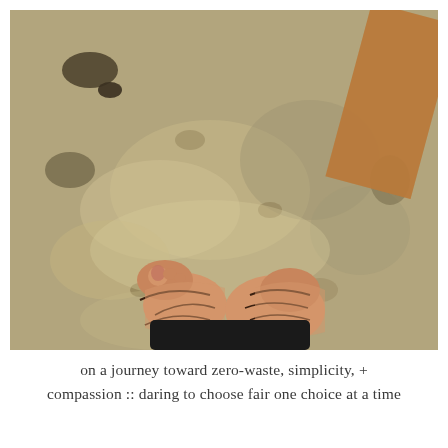[Figure (photo): Overhead/downward-looking photo of a person's feet wearing tan leather strappy sandals, standing on a weathered concrete or stone surface with dark spots and sandy patches. A wooden object is visible in the upper right corner.]
on a journey toward zero-waste, simplicity, + compassion :: daring to choose fair one choice at a time